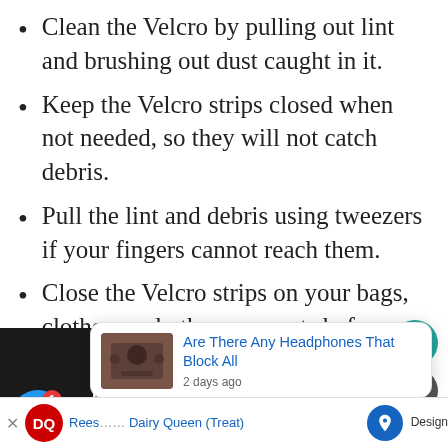Clean the Velcro by pulling out lint and brushing out dust caught in it.
Keep the Velcro strips closed when not needed, so they will not catch debris.
Pull the lint and debris using tweezers if your fingers cannot reach them.
Close the Velcro strips on your bags, clothes, and other garments before washing them. This way, the Velcro will not catch hair, lint, and all debris floating in your washing machine.
Sources
[Figure (screenshot): Popup card showing article link: 'Are There Any Headphones That Block All' with timestamp '2 days ago' and a thumbnail of headphones]
[Figure (screenshot): Advertisement bar showing Dairy Queen (Treat) ad]